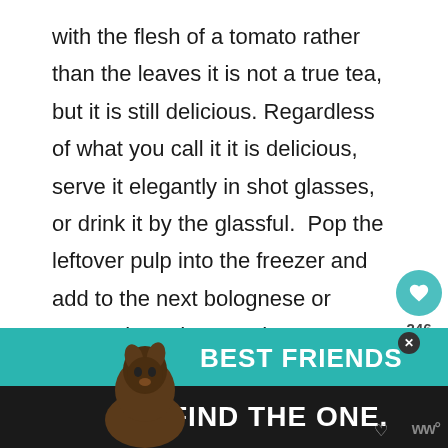with the flesh of a tomato rather than the leaves it is not a true tea, but it is still delicious. Regardless of what you call it it is delicious, serve it elegantly in shot glasses, or drink it by the glassful.  Pop the leftover pulp into the freezer and add to the next bolognese or tomato based sauce that you make.
[Figure (screenshot): Advertisement banner at bottom of page showing a dog with text 'BEST FRIENDS FIND THE ONE.' on dark and teal background]